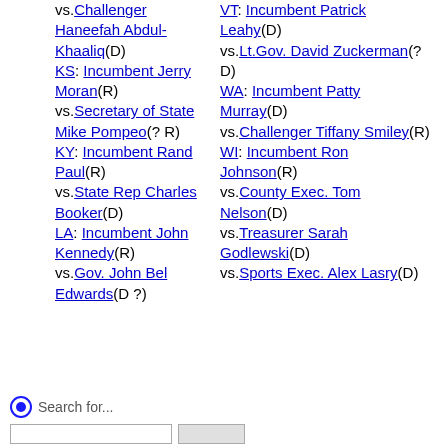vs.Challenger Haneefah Abdul-Khaaliq(D) KS: Incumbent Jerry Moran(R) vs.Secretary of State Mike Pompeo(? R) KY: Incumbent Rand Paul(R) vs.State Rep Charles Booker(D) LA: Incumbent John Kennedy(R) vs.Gov. John Bel Edwards(D ?)
VT: Incumbent Patrick Leahy(D) vs.Lt.Gov. David Zuckerman(? D) WA: Incumbent Patty Murray(D) vs.Challenger Tiffany Smiley(R) WI: Incumbent Ron Johnson(R) vs.County Exec. Tom Nelson(D) vs.Treasurer Sarah Godlewski(D) vs.Sports Exec. Alex Lasry(D)